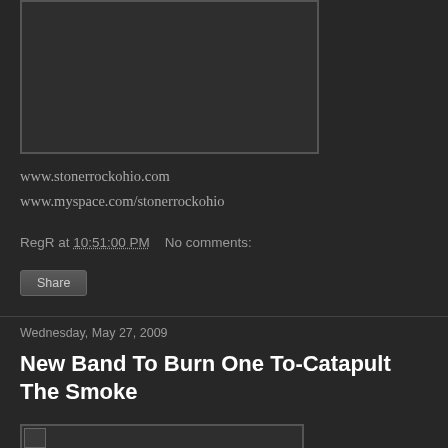[Figure (other): Dark rectangular image placeholder with border]
www.stonerrockohio.com
www.myspace.com/stonerrockohio
RegR at 10:51:00 PM    No comments:
Share
Wednesday, May 27, 2009
New Band To Burn One To-Catapult The Smoke
[Figure (other): Partially visible image at bottom of page]